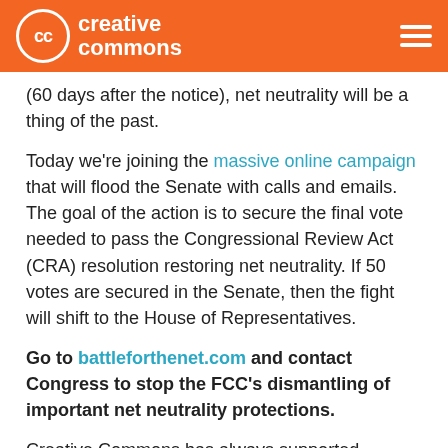Creative Commons
(60 days after the notice), net neutrality will be a thing of the past.
Today we're joining the massive online campaign that will flood the Senate with calls and emails. The goal of the action is to secure the final vote needed to pass the Congressional Review Act (CRA) resolution restoring net neutrality. If 50 votes are secured in the Senate, then the fight will shift to the House of Representatives.
Go to battleforthenet.com and contact Congress to stop the FCC's dismantling of important net neutrality protections.
Creative Commons has always supported network neutrality. We joined thousands of organisations calling on everyone to make their voices heard to the FCC and Congress. A free and